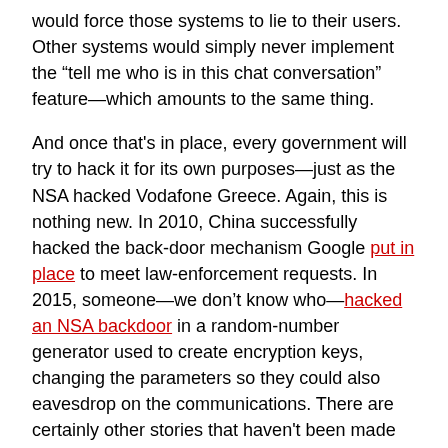would force those systems to lie to their users. Other systems would simply never implement the "tell me who is in this chat conversation" feature—which amounts to the same thing.
And once that's in place, every government will try to hack it for its own purposes—just as the NSA hacked Vodafone Greece. Again, this is nothing new. In 2010, China successfully hacked the back-door mechanism Google put in place to meet law-enforcement requests. In 2015, someone—we don't know who—hacked an NSA backdoor in a random-number generator used to create encryption keys, changing the parameters so they could also eavesdrop on the communications. There are certainly other stories that haven't been made public.
Simply adding the feature erodes public trust. If you were a dissident in a totalitarian country trying to communicate securely, would you want to use a voice or messaging system that is known to have this sort of back door? Who would you bet on, especially when the cost of losing the bet might be imprisonment or worse: the company that runs the system, or your country's government intelligence agency? If